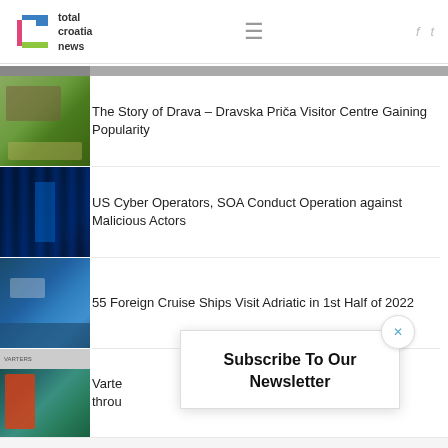total croatia news
[Figure (photo): Partial top image strip]
[Figure (photo): The Story of Drava - Dravska Priča Visitor Centre building with green landscape]
The Story of Drava – Dravska Priča Visitor Centre Gaining Popularity
[Figure (photo): Blue-lit data center corridor for US Cyber Operators SOA article]
US Cyber Operators, SOA Conduct Operation against Malicious Actors
[Figure (photo): Aerial view of Adriatic port with cruise ships]
55 Foreign Cruise Ships Visit Adriatic in 1st Half of 2022
[Figure (photo): Varte article image - person in red jacket]
Varte... throu...
Subscribe To Our Newsletter